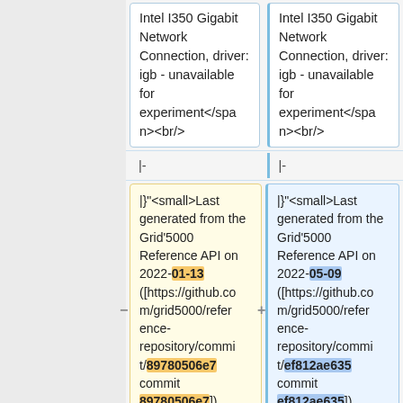| Old | New |
| --- | --- |
| Intel I350 Gigabit Network Connection, driver: igb - unavailable for experiment</span><br/> | Intel I350 Gigabit Network Connection, driver: igb - unavailable for experiment</span><br/> |
| |- | |- |
| |}"<small>Last generated from the Grid'5000 Reference API on 2022-01-13 ([https://github.com/grid5000/reference-repository/commit/89780506e7 commit 89780506e7])</small>" | |}"<small>Last generated from the Grid'5000 Reference API on 2022-05-09 ([https://github.com/grid5000/reference-repository/commit/ef812ae635 commit ef812ae635])</small>" |